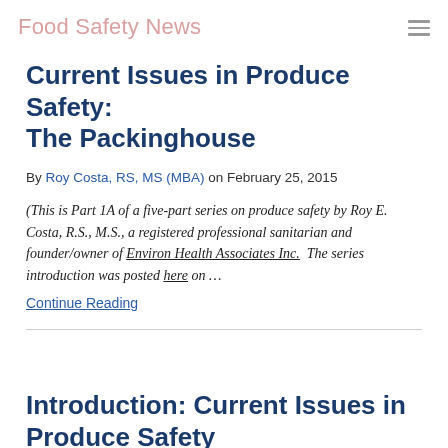Food Safety News
Current Issues in Produce Safety: The Packinghouse
By Roy Costa, RS, MS (MBA) on February 25, 2015
(This is Part 1A of a five-part series on produce safety by Roy E. Costa, R.S., M.S., a registered professional sanitarian and founder/owner of Environ Health Associates Inc.  The series introduction was posted here on …
Continue Reading
Introduction: Current Issues in Produce Safety